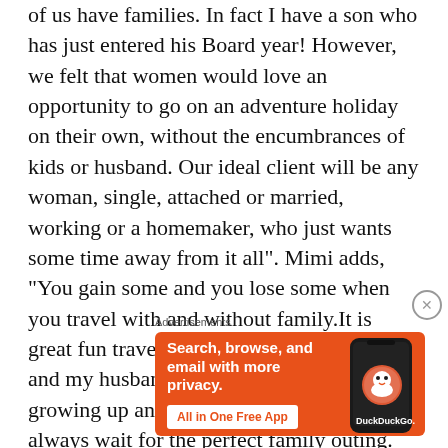of us have families. In fact I have a son who has just entered his Board year! However, we felt that women would love an opportunity to go on an adventure holiday on their own, without the encumbrances of kids or husband. Our ideal client will be any woman, single, attached or married, working or a homemaker, who just wants some time away from it all". Mimi adds, “You gain some and you lose some when you travel with and without family.It is great fun traveling with my two teenagers and my husband. However, with the kids growing up and a busy husband I can’t always wait for the perfect family outing. There can be other perfect moments. In our case we also have three dogs. We can’t leave town for a very long time. So we have started
Advertisements
[Figure (other): DuckDuckGo advertisement banner with orange background showing 'Search, browse, and email with more privacy. All in One Free App' text and a phone image with DuckDuckGo logo]